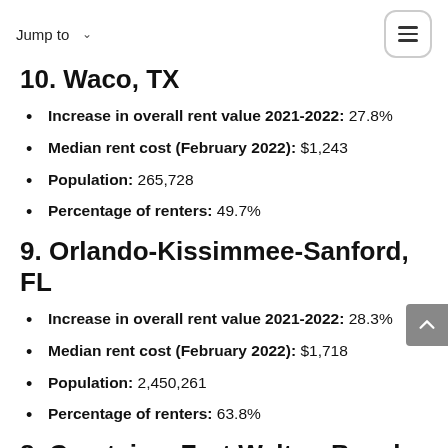Jump to
10. Waco, TX
Increase in overall rent value 2021-2022: 27.8%
Median rent cost (February 2022): $1,243
Population: 265,728
Percentage of renters: 49.7%
9. Orlando-Kissimmee-Sanford, FL
Increase in overall rent value 2021-2022: 28.3%
Median rent cost (February 2022): $1,718
Population: 2,450,261
Percentage of renters: 63.8%
8. Crestview-Fort Walton Beach-Destin,